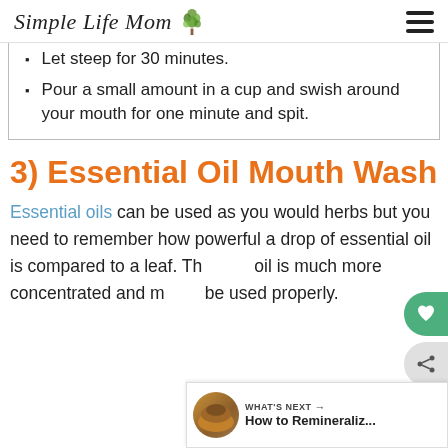Simple Life Mom
Let steep for 30 minutes.
Pour a small amount in a cup and swish around your mouth for one minute and spit.
3) Essential Oil Mouth Wash
Essential oils can be used as you would herbs but you need to remember how powerful a drop of essential oil is compared to a leaf. The oil is much more concentrated and must be used properly.